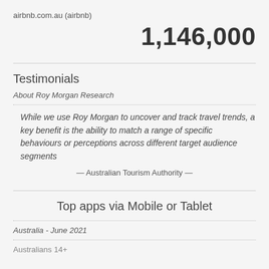airbnb.com.au (airbnb)
1,146,000
Testimonials
About Roy Morgan Research
While we use Roy Morgan to uncover and track travel trends, a key benefit is the ability to match a range of specific behaviours or perceptions across different target audience segments
— Australian Tourism Authority —
Top apps via Mobile or Tablet
Australia - June 2021
Australians 14+